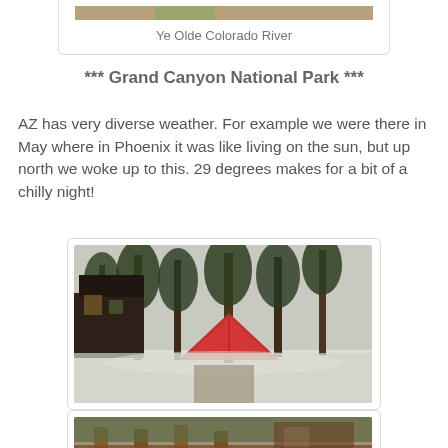Ye Olde Colorado River
*** Grand Canyon National Park ***
AZ has very diverse weather. For example we were there in May where in Phoenix it was like living on the sun, but up north we woke up to this. 29 degrees makes for a bit of a chilly night!
[Figure (photo): A red tent in a snow-dusted campground among tall pine trees with a dark wooden cabin in the background at Grand Canyon National Park]
[Figure (photo): Snowy forested campground scene at Grand Canyon, partial view showing trees and a structure in background]